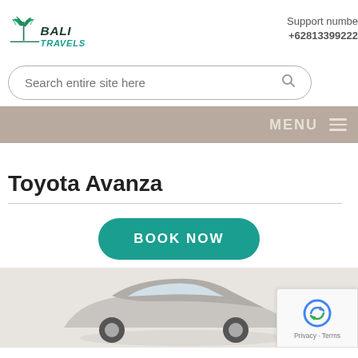[Figure (logo): Bali Travels logo with palm trees and italic text]
Support number
+62813399222
Search entire site here
MENU
Toyota Avanza
BOOK NOW
[Figure (photo): Car image partially visible at bottom of page]